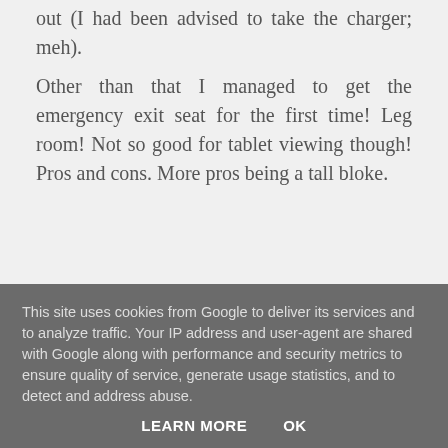out (I had been advised to take the charger; meh).
Other than that I managed to get the emergency exit seat for the first time! Leg room! Not so good for tablet viewing though! Pros and cons. More pros being a tall bloke.
Other than that, said bus journey allowed me to see get away.
[Figure (illustration): A red and white striped object resembling a cricket scoreboard or camera, partially visible]
This site uses cookies from Google to deliver its services and to analyze traffic. Your IP address and user-agent are shared with Google along with performance and security metrics to ensure quality of service, generate usage statistics, and to detect and address abuse.
LEARN MORE    OK